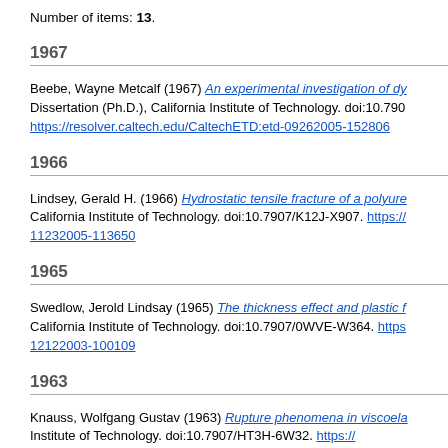Number of items: 13.
1967
Beebe, Wayne Metcalf (1967) An experimental investigation of dy... Dissertation (Ph.D.), California Institute of Technology. doi:10.790... https://resolver.caltech.edu/CaltechETD:etd-09262005-152806
1966
Lindsey, Gerald H. (1966) Hydrostatic tensile fracture of a polyure... California Institute of Technology. doi:10.7907/K12J-X907. https://... 11232005-113650
1965
Swedlow, Jerold Lindsay (1965) The thickness effect and plastic f... California Institute of Technology. doi:10.7907/0WVE-W364. https... 12122003-100109
1963
Knauss, Wolfgang Gustav (1963) Rupture phenomena in viscoela... Institute of Technology. doi:10.7907/HT3H-6W32. https://...